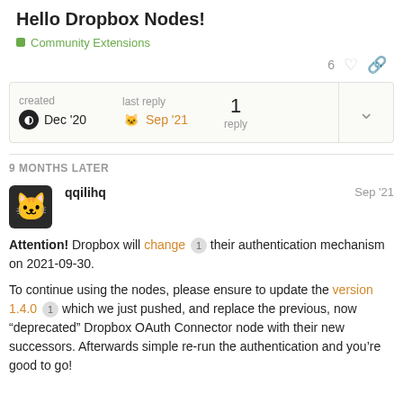Hello Dropbox Nodes!
Community Extensions
6
| created | last reply | replies |
| --- | --- | --- |
| Dec '20 | Sep '21 | 1 reply |
9 MONTHS LATER
qqilihq
Sep '21
Attention! Dropbox will change 1 their authentication mechanism on 2021-09-30.

To continue using the nodes, please ensure to update the version 1.4.0 1 which we just pushed, and replace the previous, now “deprecated” Dropbox OAuth Connector node with their new successors. Afterwards simple re-run the authentication and you’re good to go!